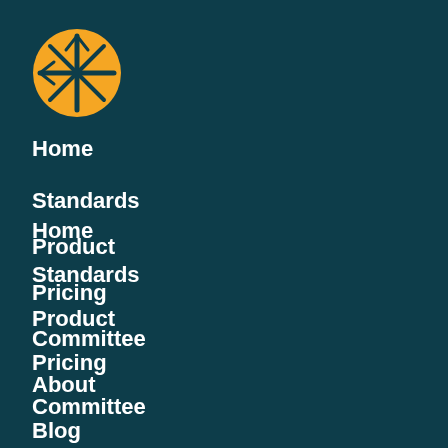[Figure (logo): Orange circle logo with a dark teal asterisk/wheel symbol and a horizontal line through the center]
Home
Standards
Product
Pricing
Committee
About
Blog
Standard MNDA
Cloud Service Agreement